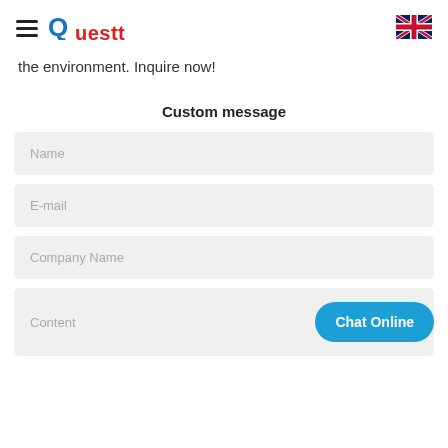Questt
the environment. Inquire now!
Custom message
Name
E-mail
Company Name
Content
Chat Online